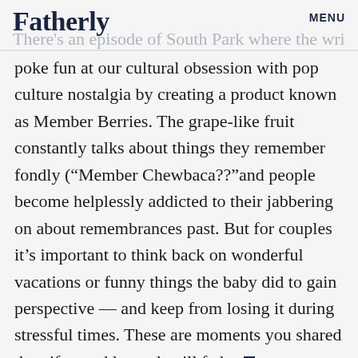Fatherly   MENU
There's an episode of South Park where the writers
poke fun at our cultural obsession with pop culture nostalgia by creating a product known as Member Berries. The grape-like fruit constantly talks about things they remember fondly (“Member Chewbaca??”and people become helplessly addicted to their jabbering on about remembrances past. But for couples it’s important to think back on wonderful vacations or funny things the baby did to gain perspective — and keep from losing it during stressful times. These are moments you shared that, if not addressed, will fade. ■